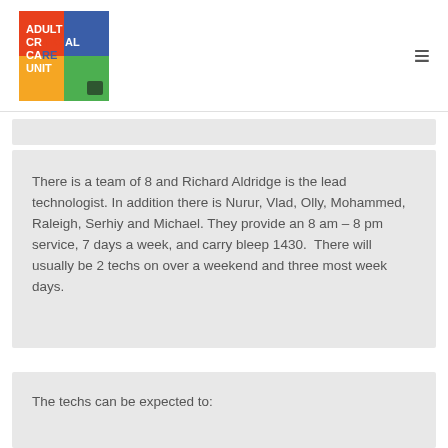Adult Critical Care Unit
There is a team of 8 and Richard Aldridge is the lead technologist. In addition there is Nurur, Vlad, Olly, Mohammed, Raleigh, Serhiy and Michael. They provide an 8 am – 8 pm service, 7 days a week, and carry bleep 1430.  There will usually be 2 techs on over a weekend and three most week days.
The techs can be expected to: